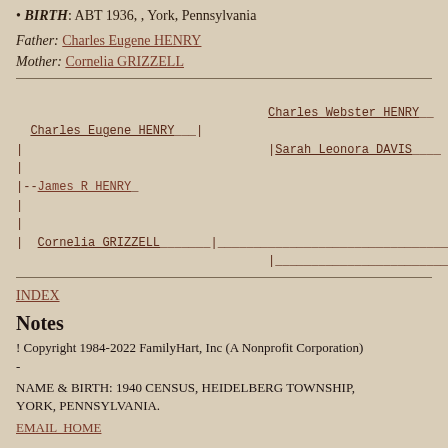BIRTH: ABT 1936, , York, Pennsylvania
Father: Charles Eugene HENRY
Mother: Cornelia GRIZZELL
[Figure (other): Genealogical pedigree chart showing ancestry of James R HENRY. Charles Eugene HENRY parents: Charles Webster HENRY and Sarah Leonora DAVIS. Cornelia GRIZZELL parents: unknown (blank lines).]
INDEX
Notes
! Copyright 1984-2022 FamilyHart, Inc (A Nonprofit Corporation) -
NAME & BIRTH: 1940 CENSUS, HEIDELBERG TOWNSHIP, YORK, PENNSYLVANIA.
EMAIL  HOME